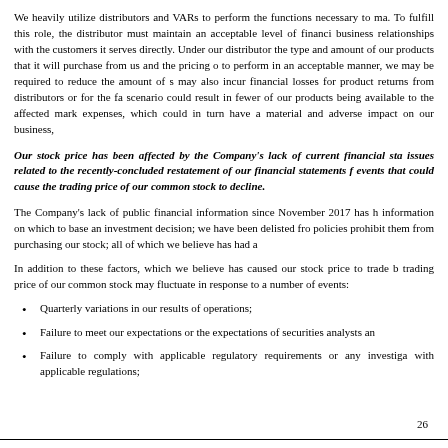We heavily utilize distributors and VARs to perform the functions necessary to ma... To fulfill this role, the distributor must maintain an acceptable level of financi... business relationships with the customers it serves directly. Under our distributor... the type and amount of our products that it will purchase from us and the pricing o... to perform in an acceptable manner, we may be required to reduce the amount of s... may also incur financial losses for product returns from distributors or for the fa... scenario could result in fewer of our products being available to the affected mark... expenses, which could in turn have a material and adverse impact on our business,
Our stock price has been affected by the Company's lack of current financial sta... issues related to the recently-concluded restatement of our financial statements f... events that could cause the trading price of our common stock to decline.
The Company's lack of public financial information since November 2017 has h... information on which to base an investment decision; we have been delisted fro... policies prohibit them from purchasing our stock; all of which we believe has had a...
In addition to these factors, which we believe has caused our stock price to trade b... trading price of our common stock may fluctuate in response to a number of events:
Quarterly variations in our results of operations;
Failure to meet our expectations or the expectations of securities analysts an...
Failure to comply with applicable regulatory requirements or any investiga... with applicable regulations;
26